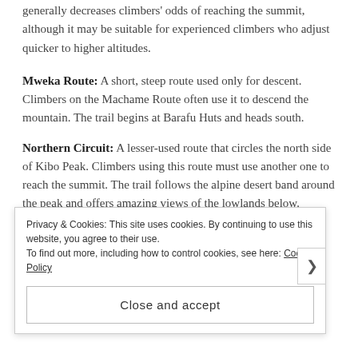generally decreases climbers' odds of reaching the summit, although it may be suitable for experienced climbers who adjust quicker to higher altitudes.
Mweka Route: A short, steep route used only for descent. Climbers on the Machame Route often use it to descend the mountain. The trail begins at Barafu Huts and heads south.
Northern Circuit: A lesser-used route that circles the north side of Kibo Peak. Climbers using this route must use another one to reach the summit. The trail follows the alpine desert band around the peak and offers amazing views of the lowlands below.
Privacy & Cookies: This site uses cookies. By continuing to use this website, you agree to their use. To find out more, including how to control cookies, see here: Cookie Policy
Close and accept